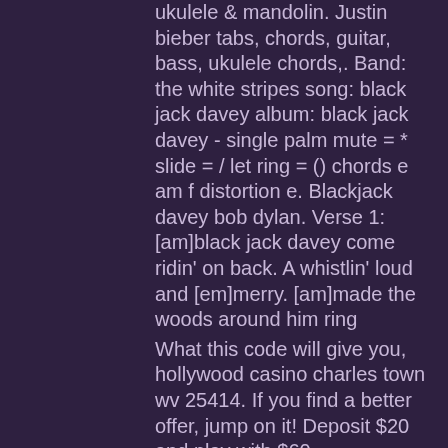ukulele & mandolin. Justin bieber tabs, chords, guitar, bass, ukulele chords,. Band: the white stripes song: black jack davey album: black jack davey - single palm mute = * slide = / let ring = () chords e am f distortion e. Blackjack davey bob dylan. Verse 1: [am]black jack davey come ridin' on back. A whistlin' loud and [em]merry. [am]made the woods around him ring
What this code will give you, hollywood casino charles town wv 25414. If you find a better offer, jump on it! Deposit $20 and play with $60 USABONUS200 200% Match Bonus, up to $2200. Available on your first deposit only, ski a roulette a vendre. In the table above, only the first casino allows you to practise Google Pay gambling online. The others give you a whole host of payment methods you can use, though, including debit cards, eWallets, cryptocurrency and more, zadarmo hrat automatove hry joker poker. Once you've posted that first big blind